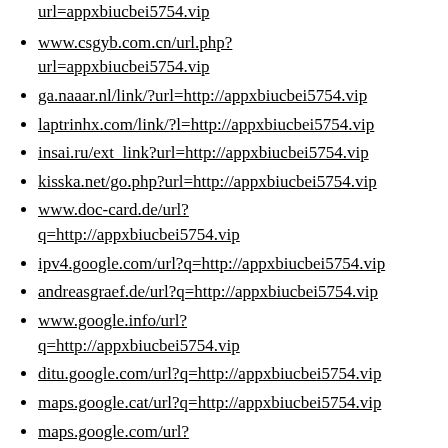www.csgyb.com.cn/url.php?url=appxbiucbei5754.vip
ga.naaar.nl/link/?url=http://appxbiucbei5754.vip
laptrinhx.com/link/?l=http://appxbiucbei5754.vip
insai.ru/ext_link?url=http://appxbiucbei5754.vip
kisska.net/go.php?url=http://appxbiucbei5754.vip
www.doc-card.de/url?q=http://appxbiucbei5754.vip
ipv4.google.com/url?q=http://appxbiucbei5754.vip
andreasgraef.de/url?q=http://appxbiucbei5754.vip
www.google.info/url?q=http://appxbiucbei5754.vip
ditu.google.com/url?q=http://appxbiucbei5754.vip
maps.google.cat/url?q=http://appxbiucbei5754.vip
maps.google.com/url?q=http://appxbiucbei5754.vip
asia.google.com/url?q=http://appxbiucbei5754.vip
plus.google.com/url?q=http://appxbiucbei5754.vip